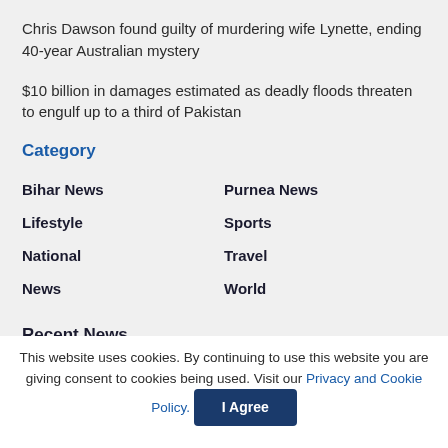Chris Dawson found guilty of murdering wife Lynette, ending 40-year Australian mystery
$10 billion in damages estimated as deadly floods threaten to engulf up to a third of Pakistan
Category
Bihar News
Purnea News
Lifestyle
Sports
National
Travel
News
World
Recent News
This website uses cookies. By continuing to use this website you are giving consent to cookies being used. Visit our Privacy and Cookie Policy.